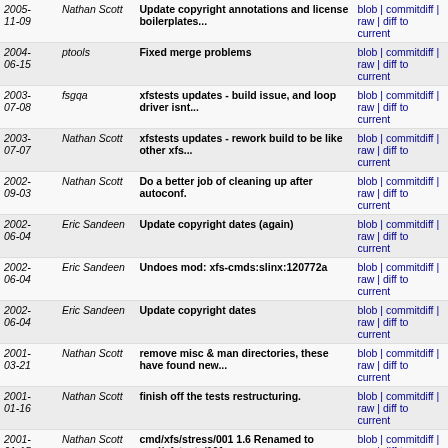| Date | Author | Message | Links |
| --- | --- | --- | --- |
| 2005-11-09 | Nathan Scott | Update copyright annotations and license boilerplates... | blob | commitdiff | raw | diff to current |
| 2004-06-15 | ptools | Fixed merge problems | blob | commitdiff | raw | diff to current |
| 2003-07-08 | fsgqa | xfstests updates - build issue, and loop driver isnt... | blob | commitdiff | raw | diff to current |
| 2003-07-07 | Nathan Scott | xfstests updates - rework build to be like other xfs... | blob | commitdiff | raw | diff to current |
| 2002-09-03 | Nathan Scott | Do a better job of cleaning up after autoconf. | blob | commitdiff | raw | diff to current |
| 2002-06-04 | Eric Sandeen | Update copyright dates (again) | blob | commitdiff | raw | diff to current |
| 2002-06-04 | Eric Sandeen | Undoes mod: xfs-cmds:slinx:120772a | blob | commitdiff | raw | diff to current |
| 2002-06-04 | Eric Sandeen | Update copyright dates | blob | commitdiff | raw | diff to current |
| 2001-03-21 | Nathan Scott | remove misc & man directories, these have found new... | blob | commitdiff | raw | diff to current |
| 2001-01-16 | Nathan Scott | finish off the tests restructuring. | blob | commitdiff | raw | diff to current |
| 2001-01-15 | Nathan Scott | cmd/xfs/stress/001 1.6 Renamed to cmd/xfstests/001 | blob | commitdiff | raw | diff to current |
Unnamed repository; edit this file 'description' to name the repository.
Atom RSS